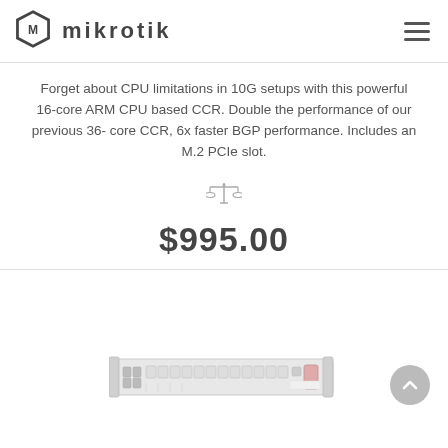[Figure (logo): MikroTik logo with hexagon icon and lowercase 'mikrotik' text]
Forget about CPU limitations in 10G setups with this powerful 16-core ARM CPU based CCR. Double the performance of our previous 36- core CCR, 6x faster BGP performance. Includes an M.2 PCIe slot.
[Figure (illustration): Balance/compare scales icon in gray]
$995.00
[Figure (photo): MikroTik CCR network router/switch 1U rack unit product photo, front view showing ports]